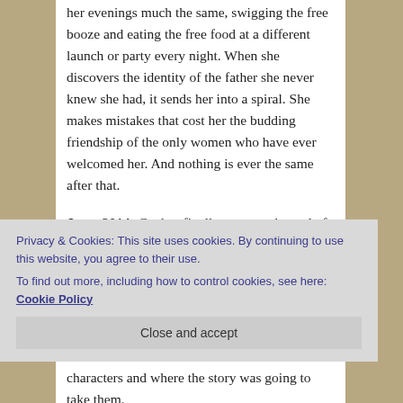her evenings much the same, swigging the free booze and eating the free food at a different launch or party every night. When she discovers the identity of the father she never knew she had, it sends her into a spiral. She makes mistakes that cost her the budding friendship of the only women who have ever welcomed her. And nothing is ever the same after that.
June, 2014: Cat has finally come to the end of herself. She no longer drinks. She wants to make amends to those she has hurt. Her quest takes her to Nantucket, to the gorgeous summer community where the women she once called family still live. Despite her sins, will they welcome her again? What Cat doesn't realize is that these women, her real father's daughters, have secrets of their
Privacy & Cookies: This site uses cookies. By continuing to use this website, you agree to their use.
To find out more, including how to control cookies, see here: Cookie Policy
Close and accept
characters and where the story was going to take them.